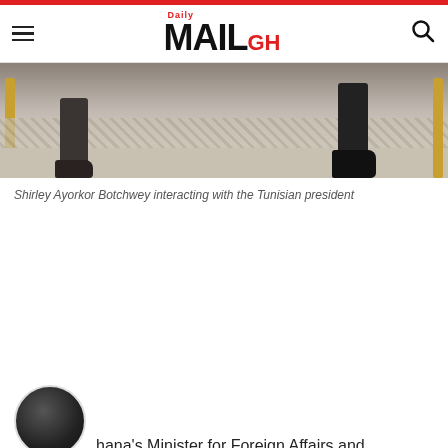Daily MAIL GH
[Figure (photo): Photograph showing the lower half of two people seated, their feet and legs visible, with golden table legs on either side, on a patterned carpet floor.]
Shirley Ayorkor Botchwey interacting with the Tunisian president
[Figure (photo): Circular avatar/portrait photo of a person, partially visible at bottom left]
hana's Minister for Foreign Affairs and